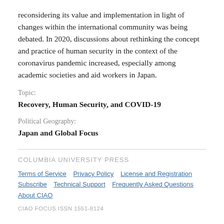reconsidering its value and implementation in light of changes within the international community was being debated. In 2020, discussions about rethinking the concept and practice of human security in the context of the coronavirus pandemic increased, especially among academic societies and aid workers in Japan.
Topic:
Recovery, Human Security, and COVID-19
Political Geography:
Japan and Global Focus
COLUMBIA UNIVERSITY PRESS
Terms of Service   Privacy Policy   License and Registration   Subscribe   Technical Support   Frequently Asked Questions   About CIAO
CIAO FOCUS ISSN 1551-8124